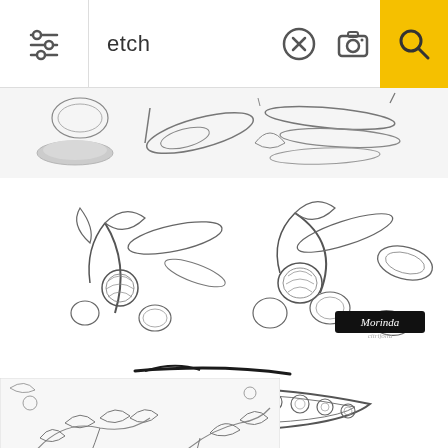etch
[Figure (illustration): Black and white etching/sketch of botanical illustrations: seeds, pods, leaves in a horizontal strip at top]
[Figure (illustration): Black and white botanical etching of morinda/noni fruits on branch with leaves and loose fruits and seeds, labeled 'Morinda' in stylized script on black banner]
[Figure (illustration): Black and white etching of a long flat bean/pea pod (drumstick/moringa) shown whole with seeds visible inside]
[Figure (illustration): Black and white etching pattern of jojoba/berry branches with leaves and small round fruits, partial view bottom-left]